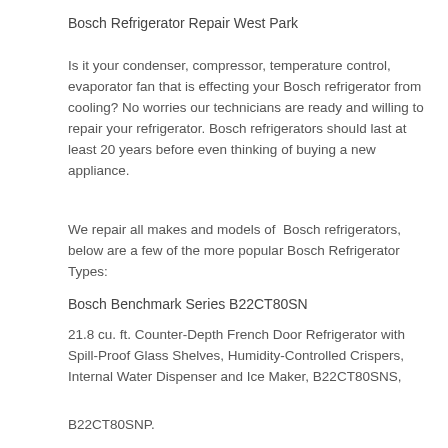Bosch Refrigerator Repair West Park
Is it your condenser, compressor, temperature control, evaporator fan that is effecting your Bosch refrigerator from cooling? No worries our technicians are ready and willing to repair your refrigerator. Bosch refrigerators should last at least 20 years before even thinking of buying a new appliance.
We repair all makes and models of  Bosch refrigerators, below are a few of the more popular Bosch Refrigerator Types:
Bosch Benchmark Series B22CT80SN
21.8 cu. ft. Counter-Depth French Door Refrigerator with Spill-Proof Glass Shelves, Humidity-Controlled Crispers, Internal Water Dispenser and Ice Maker, B22CT80SNS,
B22CT80SNP.